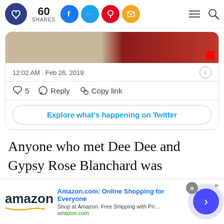60 SHARES
[Figure (screenshot): Partial embedded tweet image showing a gift box and person in red plaid clothing]
12:02 AM · Feb 26, 2019
♡ 5  Reply  Copy link
Explore what's happening on Twitter
Anyone who met Dee Dee and Gypsy Rose Blanchard was immediately struck by the bond between the mother and the daughter. Gypsy and her daughter moved to Missouri
[Figure (infographic): Amazon advertisement banner: Amazon.com: Online Shopping for Everyone. Shop at Amazon. Free Shipping with Prime. Best Deals Ever! amazon.com]